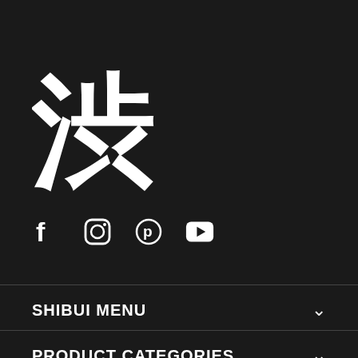[Figure (logo): Shibui brand logo featuring a white Japanese kanji character in bold brush calligraphy style on a dark background]
[Figure (infographic): Row of social media icons: Facebook (f), Instagram (circle with inner circle), Pinterest (P in circle), YouTube (play button in rounded rectangle)]
SHIBUI MENU
PRODUCT CATEGORIES